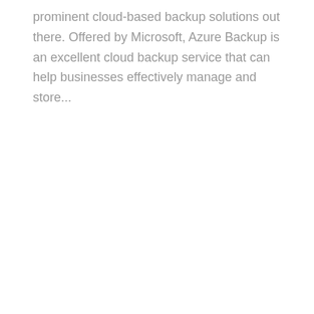prominent cloud-based backup solutions out there. Offered by Microsoft, Azure Backup is an excellent cloud backup service that can help businesses effectively manage and store...